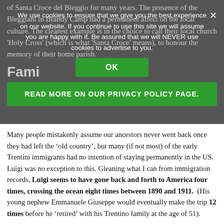of Santa Croce del Bleggio for many years. The presence of the Bleggiani in Brandy Camp had a permanent affect on the local culture. The clearest example is in the choice to call their local church 'Holy Cross' (which is what 'Santa Croce' means), to honour the memory of their home parish.
We use cookies to ensure that we give you the best experience on our website. If you continue to use this site we will assume you are happy with it. Be assured that we will NEVER use cookies to advertise to you.
OK
READ MORE ON OUR PRIVACY POLICY PAGE.
Fami
Many people mistakenly assume our ancestors never went back once they had left the ‘old country’, but many (if not most) of the early Trentini immigrants had no intention of staying permanently in the US. Luigi was no exception to this. Gleaning what I can from immigration records, Luigi seems to have gone back and forth to America four times, crossing the ocean eight times between 1890 and 1911. (His young nephew Emmanuele Giuseppe would eventually make the trip 12 times before he ‘retired’ with his Trentino family at the age of 51).